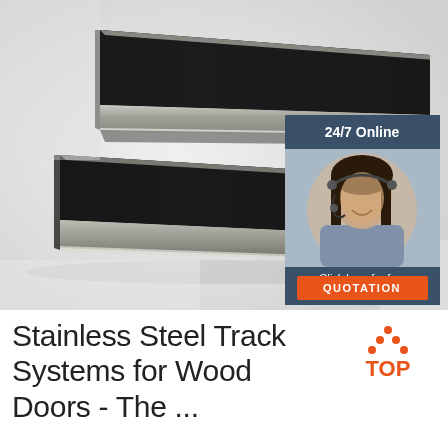[Figure (photo): Two dark/black stainless steel flat bar track sections photographed at an angle on a white background, showing their flat surface and beveled edges. An overlay chat widget is visible in the upper right showing a customer service representative with headset, a '24/7 Online' header, 'Click here for free chat!' text, and an orange QUOTATION button.]
Stainless Steel Track Systems for Wood Doors - The ...